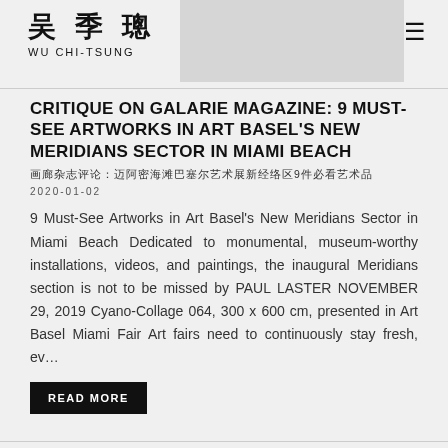吴季璁 WU CHI-TSUNG
CRITIQUE ON GALARIE MAGAZINE: 9 MUST-SEE ARTWORKS IN ART BASEL'S NEW MERIDIANS SECTOR IN MIAMI BEACH
画廊杂志评论：迈阿密海滩巴塞尔艺术展新经络区9件必看艺术品
2020-01-02
9 Must-See Artworks in Art Basel's New Meridians Sector in Miami Beach Dedicated to monumental, museum-worthy installations, videos, and paintings, the inaugural Meridians section is not to be missed by PAUL LASTER NOVEMBER 29, 2019 Cyano-Collage 064, 300 x 600 cm, presented in Art Basel Miami Fair Art fairs need to continuously stay fresh, ev…
READ MORE